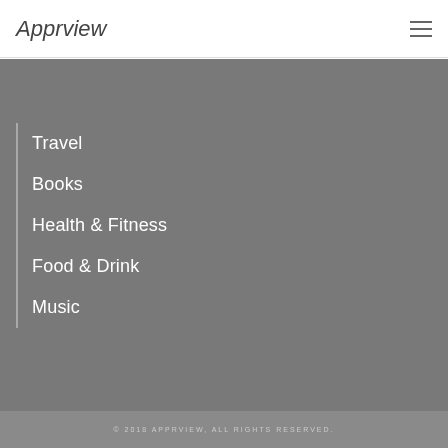Apprview
Travel
Books
Health & Fitness
Food & Drink
Music
© 2018 APPRVIEW, ALL RIGHTS RESERVED.